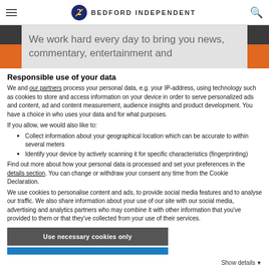Bedford Independent
[Figure (screenshot): Banner with text: We work hard every day to bring you news, commentary, entertainment and]
Responsible use of your data
We and our partners process your personal data, e.g. your IP-address, using technology such as cookies to store and access information on your device in order to serve personalized ads and content, ad and content measurement, audience insights and product development. You have a choice in who uses your data and for what purposes.
If you allow, we would also like to:
Collect information about your geographical location which can be accurate to within several meters
Identify your device by actively scanning it for specific characteristics (fingerprinting)
Find out more about how your personal data is processed and set your preferences in the details section. You can change or withdraw your consent any time from the Cookie Declaration.
We use cookies to personalise content and ads, to provide social media features and to analyse our traffic. We also share information about your use of our site with our social media, advertising and analytics partners who may combine it with other information that you've provided to them or that they've collected from your use of their services.
Use necessary cookies only
Show details